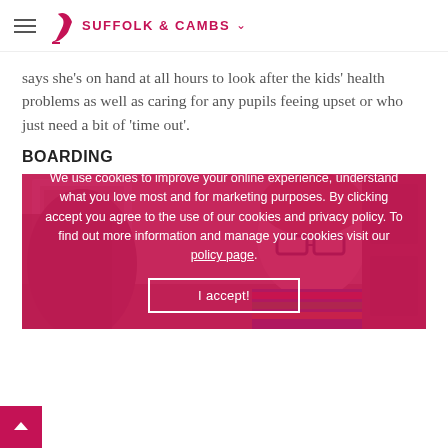SUFFOLK & CAMBS
says she's on hand at all hours to look after the kids' health problems as well as caring for any pupils feeing upset or who just need a bit of 'time out'.
BOARDING
[Figure (photo): A boy with glasses wearing a colourful striped top, looking down while working, with another pupil partially visible on the left and a fireplace/mantelpiece in the background.]
We use cookies to improve your online experience, understand what you love most and for marketing purposes. By clicking accept you agree to the use of our cookies and privacy policy. To find out more information and manage your cookies visit our policy page.
I accept!